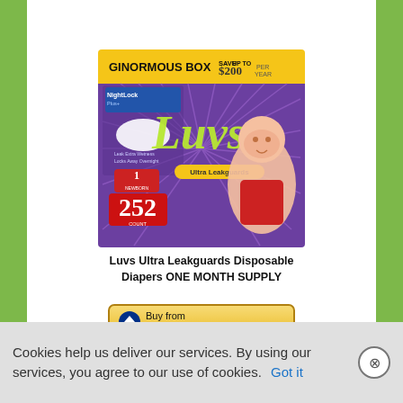[Figure (photo): Luvs Ultra Leakguards Disposable Diapers Ginormous Box - Save up to $200, 252 count, Size 1, with baby on purple box]
Luvs Ultra Leakguards Disposable Diapers ONE MONTH SUPPLY
[Figure (logo): Buy from amazon.com button with Amazon arrow logo]
[Figure (photo): Baby wipes packages stacked, lavender colored packaging]
Cookies help us deliver our services. By using our services, you agree to our use of cookies.  Got it